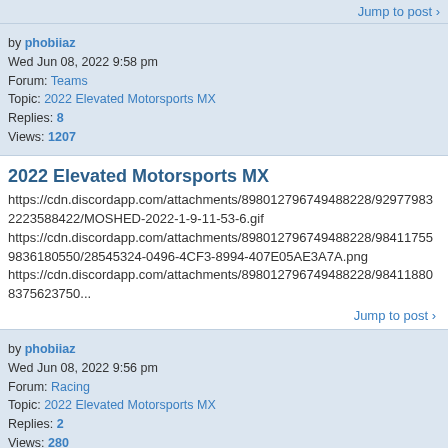Jump to post >
by phobiiaz
Wed Jun 08, 2022 9:58 pm
Forum: Teams
Topic: 2022 Elevated Motorsports MX
Replies: 8
Views: 1207
2022 Elevated Motorsports MX
https://cdn.discordapp.com/attachments/898012796749488228/929779832223588422/MOSHED-2022-1-9-11-53-6.gif https://cdn.discordapp.com/attachments/898012796749488228/984117559836180550/28545324-0496-4CF3-8994-407E05AE3A7A.png https://cdn.discordapp.com/attachments/898012796749488228/984118808375623750...
Jump to post >
by phobiiaz
Wed Jun 08, 2022 9:56 pm
Forum: Racing
Topic: 2022 Elevated Motorsports MX
Replies: 2
Views: 280
2022 Elevated Motorsports MX
https://cdn.discordapp.com/attachments/898012796749488228/929779832223588422/MOSHED-2022-1-9-11-53-6.gif https://cdn.discordapp.com/attachments/898012796749488228/984117559836180550/28545324-0496-4CF3-8994-407E05AE3A7A.png